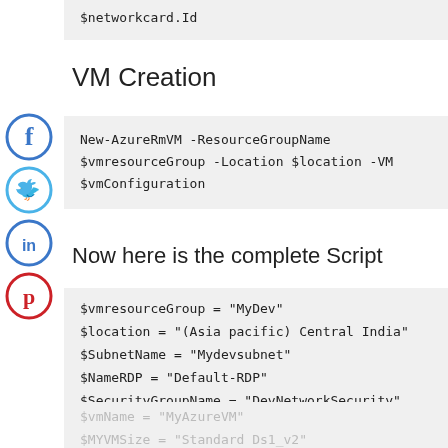$networkcard.Id
VM Creation
New-AzureRmVM -ResourceGroupName $vmresourceGroup -Location $location -VM $vmConfiguration
Now here is the complete Script
$vmresourceGroup = "MyDev"
$location = "(Asia pacific) Central India"
$SubnetName = "Mydevsubnet"
$NameRDP = "Default-RDP"
$SecurityGroupName = "DevNetworkSecurity"
$vmName = "MyAzureVM"
$MYVMSize = "Standard Ds1_v2"
$Networkname = "DevNet"